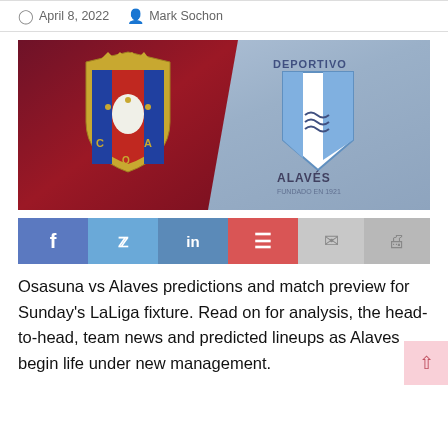April 8, 2022   Mark Sochon
[Figure (illustration): Split hero image showing Osasuna (red/maroon left) and Deportivo Alaves (grey/blue right) football club logos side by side]
[Figure (infographic): Social sharing bar with buttons: Facebook (f), Twitter (bird), LinkedIn (in), Pinterest (p), Email (envelope), Print (printer)]
Osasuna vs Alaves predictions and match preview for Sunday's LaLiga fixture. Read on for analysis, the head-to-head, team news and predicted lineups as Alaves begin life under new management.